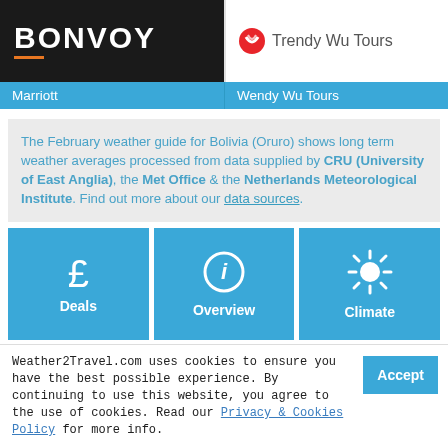[Figure (logo): Marriott Bonvoy logo on dark background]
[Figure (logo): Wendy Wu Tours logo on white background]
Marriott
Wendy Wu Tours
The February weather guide for Bolivia (Oruro) shows long term weather averages processed from data supplied by CRU (University of East Anglia), the Met Office & the Netherlands Meteorological Institute. Find out more about our data sources.
[Figure (infographic): Deals button with pound sign icon]
[Figure (infographic): Overview button with info circle icon]
[Figure (infographic): Climate button with sun icon]
Weather2Travel.com uses cookies to ensure you have the best possible experience. By continuing to use this website, you agree to the use of cookies. Read our Privacy & Cookies Policy for more info.